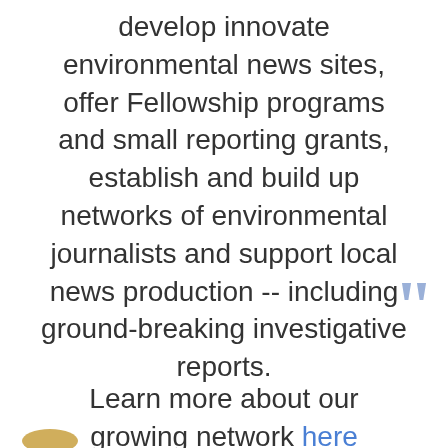develop innovate environmental news sites, offer Fellowship programs and small reporting grants, establish and build up networks of environmental journalists and support local news production -- including ground-breaking investigative reports.
Learn more about our growing network here